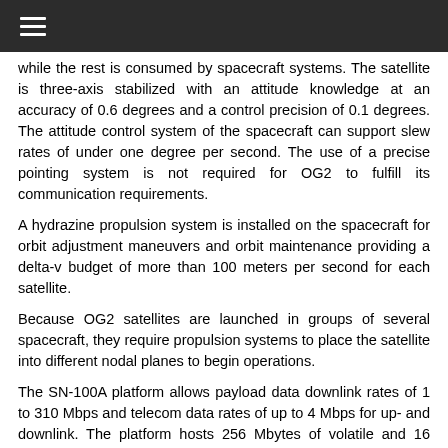≡
while the rest is consumed by spacecraft systems. The satellite is three-axis stabilized with an attitude knowledge at an accuracy of 0.6 degrees and a control precision of 0.1 degrees. The attitude control system of the spacecraft can support slew rates of under one degree per second. The use of a precise pointing system is not required for OG2 to fulfill its communication requirements.
A hydrazine propulsion system is installed on the spacecraft for orbit adjustment maneuvers and orbit maintenance providing a delta-v budget of more than 100 meters per second for each satellite.
Because OG2 satellites are launched in groups of several spacecraft, they require propulsion systems to place the satellite into different nodal planes to begin operations.
The SN-100A platform allows payload data downlink rates of 1 to 310 Mbps and telecom data rates of up to 4 Mbps for up- and downlink. The platform hosts 256 Mbytes of volatile and 16 Mbytes